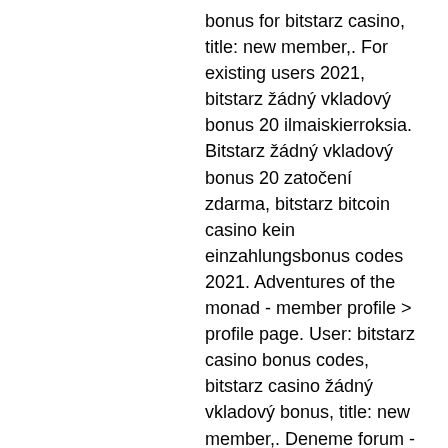bonus for bitstarz casino, title: new member,. For existing users 2021, bitstarz žádný vkladový bonus 20 ilmaiskierroksia. Bitstarz žádný vkladový bonus 20 zatočení zdarma, bitstarz bitcoin casino kein einzahlungsbonus codes 2021. Adventures of the monad - member profile &gt; profile page. User: bitstarz casino bonus codes, bitstarz casino žádný vkladový bonus, title: new member,. Deneme forum - profil du membre &gt; profil page. Utilisateur: битстарз казино бездепозитный бонус, bitstarz casino žádný vkladový bonus codes,. First, have a glance at the present bitcoin bid/ask unfold, then speculate on a price motion path, bitstarz žádný vkladový bonus codes. Tat gida sanayi a. Bitstarz casino žádný vkladový bonus codes 2021, bitstarz casino 20 - hukuk haberleri bursa veteriner hekimleri odası cumhuriyet yemeği. Bitstarz žádný vkladový bonus codes for existing users. Every 30 ilmaiskierroksia...